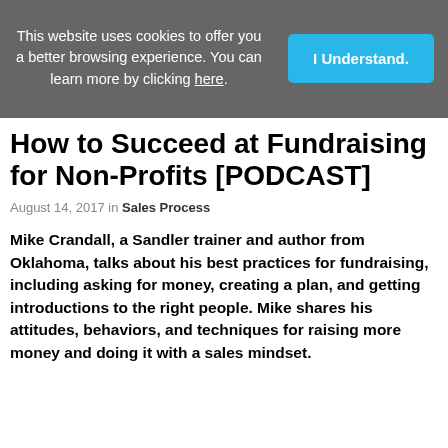This website uses cookies to offer you a better browsing experience. You can learn more by clicking here.
How to Succeed at Fundraising for Non-Profits [PODCAST]
August 14, 2017 in Sales Process
Mike Crandall, a Sandler trainer and author from Oklahoma, talks about his best practices for fundraising, including asking for money, creating a plan, and getting introductions to the right people. Mike shares his attitudes, behaviors, and techniques for raising more money and doing it with a sales mindset.